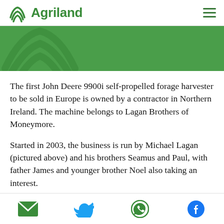Agriland
[Figure (logo): Agriland logo with green layered leaf/field icon and green banner with watermark]
The first John Deere 9900i self-propelled forage harvester to be sold in Europe is owned by a contractor in Northern Ireland. The machine belongs to Lagan Brothers of Moneymore.
Started in 2003, the business is run by Michael Lagan (pictured above) and his brothers Seamus and Paul, with father James and younger brother Noel also taking an interest.
[also-read url="https://www.agriland.ie/farming-
Email | Twitter | WhatsApp | Facebook social share icons